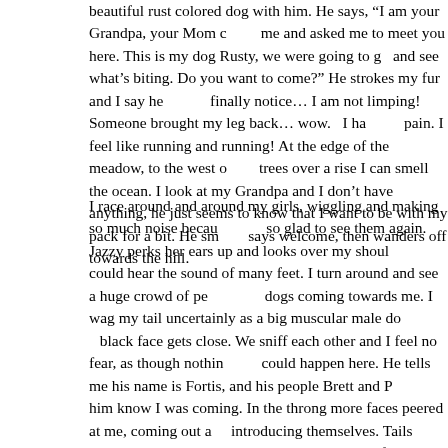beautiful rust colored dog with him.  He says, "I am your Grandpa, your Mom called me and asked me to meet you here.  This is my dog Rusty, we were going to go fishing and see what's biting.  Do you want to come?"  He strokes my fur and I say hello and finally notice… I am not limping!  Someone brought my leg back… wow.   I have no pain.  I feel like running and running!  At the edge of the meadow, to the west of the trees over a rise I can smell the ocean.  I look at my Grandpa and I don't have to say anything, he just seems to know that I want to be with my pack for a bit.  He smiles, says welcome, then wanders off towards the hill.
I race around and around my girls, wiggling and making so much noise because I am so glad to see them again.  Jazzy perks her ears up and looks over my shoulder, she could hear the sound of many feet.  I turn around and see a huge crowd of people and dogs coming towards me.  I wag my tail uncertainly as a big muscular male dog with a black face gets close.  We sniff each other and I feel no fear, as though nothing bad could happen here.  He tells me his name is Fortis, and his people Brett and Pat let him know I was coming.  In the throng more faces peered at me, coming out and introducing themselves.  Tails wagged and I could smell the ocean on many of them.  Names of dogs I have never met but heard before, Abby, JD, the Golden girls, a dog with a pink cape, she calls herself  The Woo, a big German Shepperd named Jerry, Gus, and a red dog who tells me that he is looking for pennies for his mom and that the best ones are down at the beach, a big black dog who could be my brother, his name is Super Cooper,  so many dogs to explore!  I look to my left and a beautiful shiny black girl dog is waiting her turn.  I smell her and it hits me.  I have smelled her before but we had never met!  It is my girl, my beautiful girl Gayle.  I am smiling the biggest sheepish grin, my back end wagging my whole body.   Hi pretty girl, I say never mind.